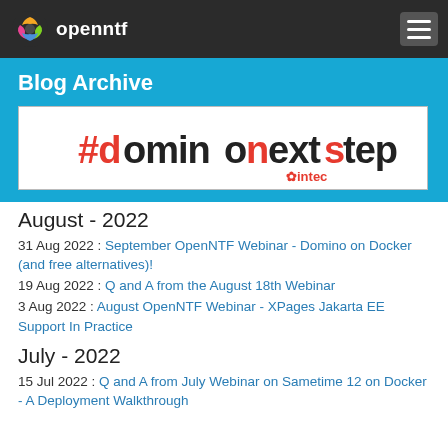openntf
Blog Archive
[Figure (logo): #dominonextstep - intec logo/banner image]
August - 2022
31 Aug 2022 : September OpenNTF Webinar - Domino on Docker (and free alternatives)!
19 Aug 2022 : Q and A from the August 18th Webinar
3 Aug 2022 : August OpenNTF Webinar - XPages Jakarta EE Support In Practice
July - 2022
15 Jul 2022 : Q and A from July Webinar on Sametime 12 on Docker - A Deployment Walkthrough